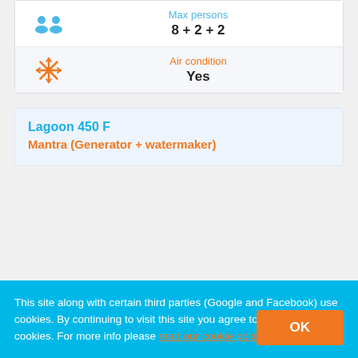| [persons icon] | Max persons | 8 + 2 + 2 |
| [snowflake icon] | Air condition | Yes |
Lagoon 450 F
Mantra (Generator + watermaker)
This site along with certain third parties (Google and Facebook) use cookies. By continuing to visit this site you agree to our use of cookies. For more info please read our cookie policy.